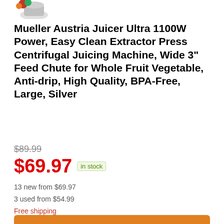[Figure (photo): Partial product image of Mueller Austria Juicer at top left corner]
Mueller Austria Juicer Ultra 1100W Power, Easy Clean Extractor Press Centrifugal Juicing Machine, Wide 3” Feed Chute for Whole Fruit Vegetable, Anti-drip, High Quality, BPA-Free, Large, Silver
$89.99 (strikethrough) $69.97 in stock
13 new from $69.97
3 used from $54.99
Free shipping
Buy on Amazon